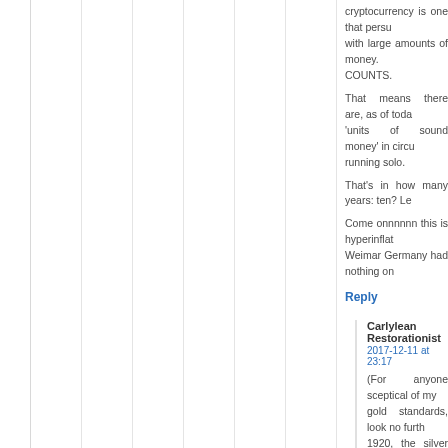cryptocurrency is one that persuades people with large amounts of money. THAT COUNTS.
That means there are, as of today, more 'units of sound money' in circulation running solo.
That's in how many years: ten? Le
Come onnnnnn this is hyperinflati Weimar Germany had nothing on
Reply
Carlylean Restorationist
2017-12-11 at 23:17
(For anyone sceptical of my gold standards, look no furth 1920, the silver content of th Even earlier than that, unde threepenny bit was introduce counterpart. The former w exchange rate of currency fo old shillings were the same i even though anyone who h wise in light of long-term i naked inflation of the mone was a lot in 1900.